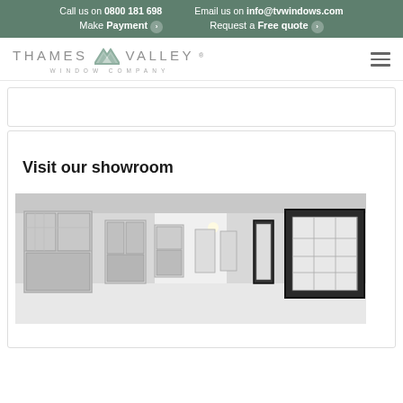Call us on 0800 181 698  Email us on info@tvwindows.com  Make Payment >  Request a Free quote >
[Figure (logo): Thames Valley Window Company logo with stylised mountain/valley icon between the words THAMES and VALLEY, with WINDOW COMPANY underneath]
Visit our showroom
[Figure (photo): Interior of a window and door showroom displaying various white-framed and dark-framed window and door products arranged along a white corridor]